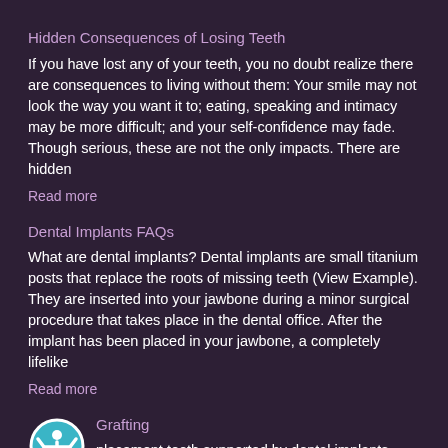Hidden Consequences of Losing Teeth
If you have lost any of your teeth, you no doubt realize there are consequences to living without them: Your smile may not look the way you want it to; eating, speaking and intimacy may be more difficult; and your self-confidence may fade. Though serious, these are not the only impacts. There are hidden
Read more
Dental Implants FAQs
What are dental implants? Dental implants are small titanium posts that replace the roots of missing teeth (View Example). They are inserted into your jawbone during a minor surgical procedure that takes place in the dental office. After the implant has been placed in your jawbone, a completely lifelike
Read more
Grafting
placement teeth supported by dental implants function so well and last so long because, like natural teeth, they are